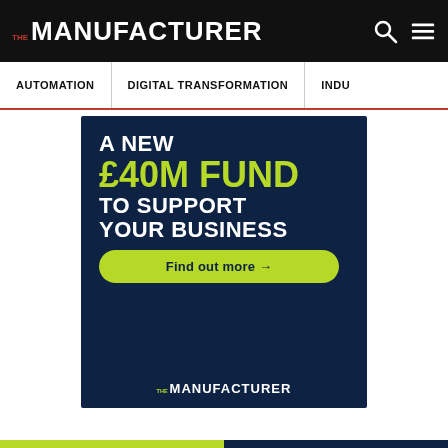THE MANUFACTURER
AUTOMATION | DIGITAL TRANSFORMATION | INDU...
[Figure (illustration): Advertisement banner on dark navy background. Text reads: A NEW £40M FUND TO SUPPORT YOUR BUSINESS. Green button: Find out more →. THE MANUFACTURER logo at bottom.]